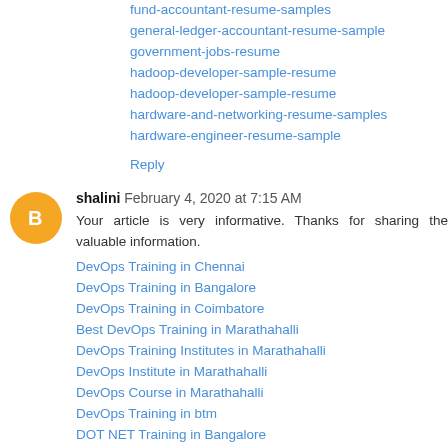fund-accountant-resume-samples
general-ledger-accountant-resume-sample
government-jobs-resume
hadoop-developer-sample-resume
hadoop-developer-sample-resume
hardware-and-networking-resume-samples
hardware-engineer-resume-sample
Reply
shalini  February 4, 2020 at 7:15 AM
Your article is very informative. Thanks for sharing the valuable information.
DevOps Training in Chennai
DevOps Training in Bangalore
DevOps Training in Coimbatore
Best DevOps Training in Marathahalli
DevOps Training Institutes in Marathahalli
DevOps Institute in Marathahalli
DevOps Course in Marathahalli
DevOps Training in btm
DOT NET Training in Bangalore